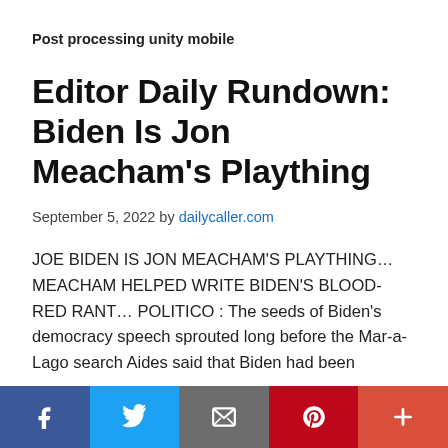Post processing unity mobile
Editor Daily Rundown: Biden Is Jon Meacham's Plaything
September 5, 2022 by dailycaller.com
JOE BIDEN IS JON MEACHAM'S PLAYTHING… MEACHAM HELPED WRITE BIDEN'S BLOOD-RED RANT… POLITICO : The seeds of Biden's democracy speech sprouted long before the Mar-a-Lago search Aides said that Biden had been